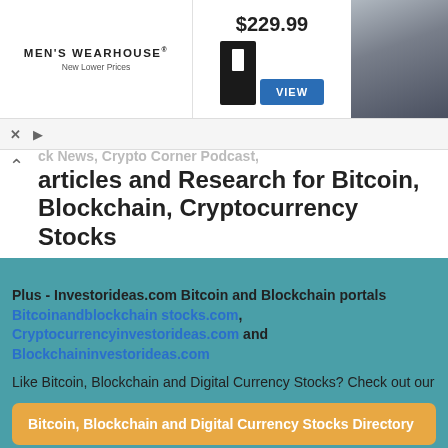[Figure (photo): Men's Wearhouse advertisement banner showing a man in a tuxedo, price $229.99, VIEW button, and a couple in formal wear]
ck News, Crypto Corner Podcast, articles and Research for Bitcoin, Blockchain, Cryptocurrency Stocks
Plus - Investorideas.com Bitcoin and Blockchain portals Bitcoinandblockchain stocks.com, Cryptocurrencyinvestorideas.com and Blockchaininvestorideas.com
Like Bitcoin, Blockchain and Digital Currency Stocks? Check out our
Bitcoin, Blockchain and Digital Currency Stocks Directory
Get News Alerts on Bitcoin Stocks
[Figure (photo): Bitcoin gold coin with Bitcoin symbol]